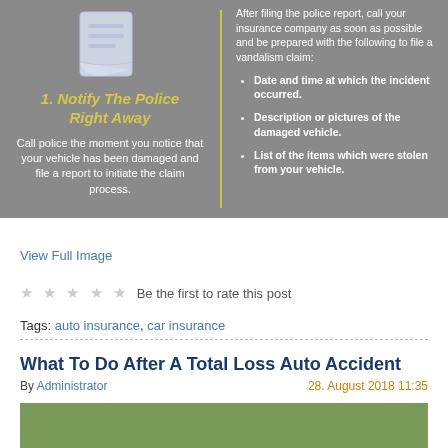[Figure (infographic): Two-panel infographic on a grey background. Left panel shows a document icon and step '1. Notify The Police Right Away' with text about calling police. Right panel shows instructions about calling insurance company with bullet points about date/time, description/pictures, and list of stolen items.]
View Full Image
★★★★★ Be the first to rate this post
Tags: auto insurance, car insurance
What To Do After A Total Loss Auto Accident
By Administrator   28. August 2018 11:35
[Figure (photo): Green background article header image, partially visible at bottom of page.]